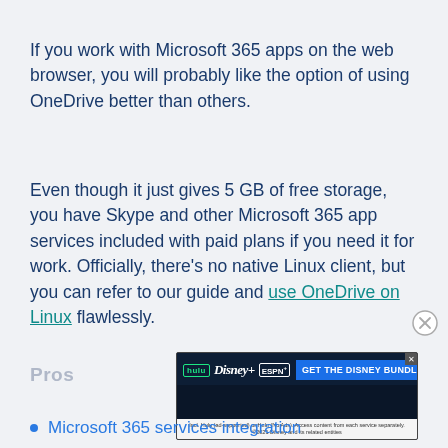If you work with Microsoft 365 apps on the web browser, you will probably like the option of using OneDrive better than others.
Even though it just gives 5 GB of free storage, you have Skype and other Microsoft 365 app services included with paid plans if you need it for work. Officially, there’s no native Linux client, but you can refer to our guide and use OneDrive on Linux flawlessly.
Pros
[Figure (other): Advertisement banner for the Disney Bundle featuring Hulu, Disney+, and ESPN+ logos with a blue 'GET THE DISNEY BUNDLE' call-to-action button.]
Microsoft 365 services integration